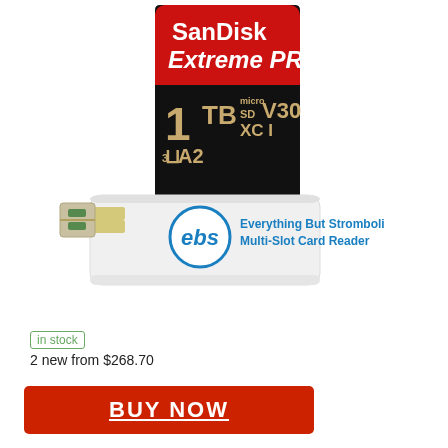[Figure (photo): SanDisk Extreme PRO 1TB microSD card (red/black, showing 1TB, U3, A2, microSDXC, V30 I markings) and an Everything But Stromboli Multi-Slot Card Reader (white USB device with blue EBS logo)]
in stock
2 new from $268.70
BUY NOW